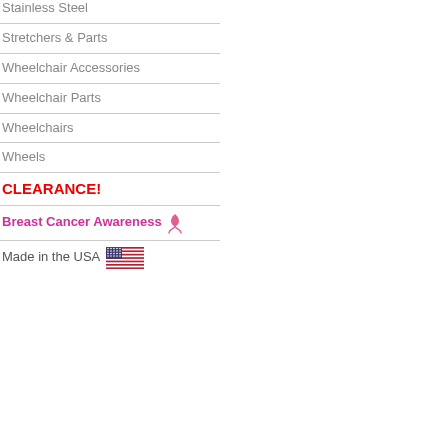Stainless Steel
Stretchers & Parts
Wheelchair Accessories
Wheelchair Parts
Wheelchairs
Wheels
CLEARANCE!
Breast Cancer Awareness
Made in the USA